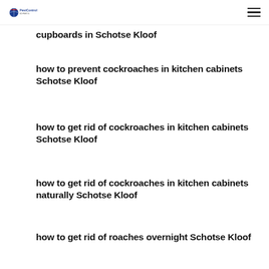PestControl [logo] [hamburger menu]
cupboards in Schotse Kloof
how to prevent cockroaches in kitchen cabinets Schotse Kloof
how to get rid of cockroaches in kitchen cabinets Schotse Kloof
how to get rid of cockroaches in kitchen cabinets naturally Schotse Kloof
how to get rid of roaches overnight Schotse Kloof